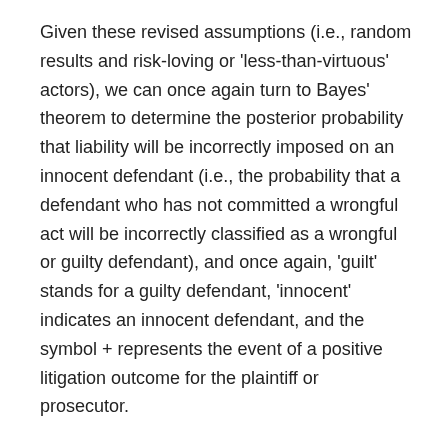Given these revised assumptions (i.e., random results and risk-loving or 'less-than-virtuous' actors), we can once again turn to Bayes' theorem to determine the posterior probability that liability will be incorrectly imposed on an innocent defendant (i.e., the probability that a defendant who has not committed a wrongful act will be incorrectly classified as a wrongful or guilty defendant), and once again, 'guilt' stands for a guilty defendant, 'innocent' indicates an innocent defendant, and the symbol + represents the event of a positive litigation outcome for the plaintiff or prosecutor.
As such, in the absence of any additional information or evidence, Pr(guilty), the prior probability that a particular defendant has committed a wrongful act, is equal to 0.6, while Pr(innocent), the prior probability that a particular defendant has not committed a wrongful act, is 0.4 (i.e., 1 -